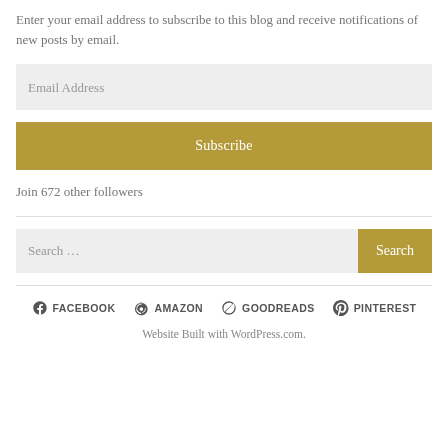Enter your email address to subscribe to this blog and receive notifications of new posts by email.
Email Address
Subscribe
Join 672 other followers
Search …
Search
FACEBOOK   AMAZON   GOODREADS   PINTEREST
Website Built with WordPress.com.